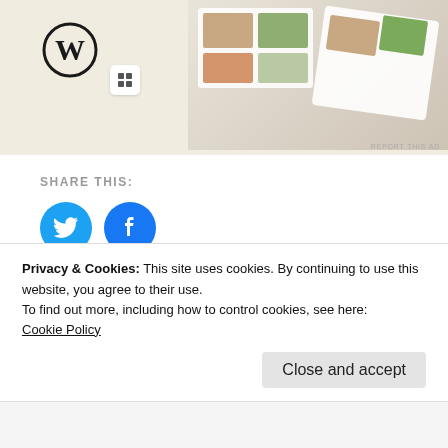[Figure (screenshot): Advertisement area with WordPress logo, Squarespace icon, and food recipe book images on right side. Small 'REPORT THIS AD' text at bottom right.]
SHARE THIS:
[Figure (infographic): Twitter and Facebook circular share buttons in blue, a Like button with star icon, and a decorative cross/flower icon]
One blogger likes this.
RELATED
becoming real
August 1, 2016
it takes a village
November 3, 2014
Privacy & Cookies: This site uses cookies. By continuing to use this website, you agree to their use.
To find out more, including how to control cookies, see here:
Cookie Policy
Close and accept